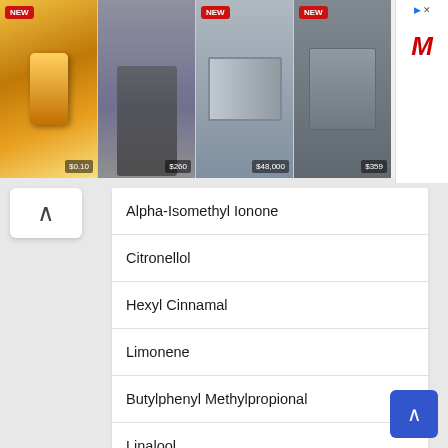[Figure (screenshot): Advertisement banner showing 4 product images with prices: phone ($0.10, NEW), electric scooter ($260), industrial machine ($48,000, NEW), computer hardware ($359, NEW), plus a media market logo on the right]
Alpha-Isomethyl Ionone
Citronellol
Hexyl Cinnamal
Limonene
Butylphenyl Methylpropional
Linalool
Parfum
CI 42090